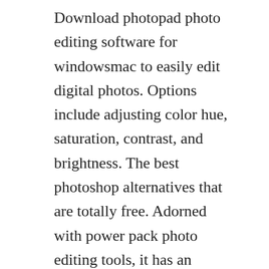Download photopad photo editing software for windowsmac to easily edit digital photos. Options include adjusting color hue, saturation, contrast, and brightness. The best photoshop alternatives that are totally free. Adorned with power pack photo editing tools, it has an interface similar to photoshop. Hp photo creations program has retired since november 30, 2019. Net is a free image and photo editing software for windows platform.
Adobe photoshop elements is a photo management, editing. Edit pictures and save